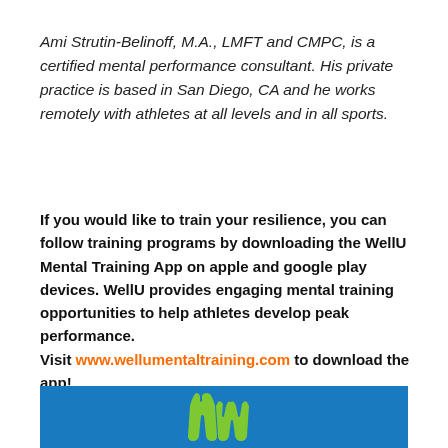Ami Strutin-Belinoff, M.A., LMFT and CMPC, is a certified mental performance consultant. His private practice is based in San Diego, CA and he works remotely with athletes at all levels and in all sports.
If you would like to train your resilience, you can follow training programs by downloading the WellU Mental Training App on apple and google play devices. WellU provides engaging mental training opportunities to help athletes develop peak performance. Visit www.wellumentaltraining.com to download the app!
[Figure (logo): WellU logo on blue background — green stylized 'Wu' lettermark]